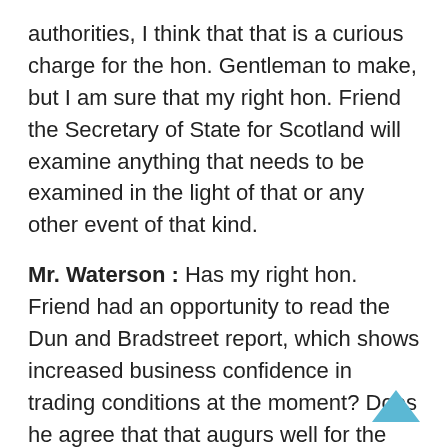authorities, I think that that is a curious charge for the hon. Gentleman to make, but I am sure that my right hon. Friend the Secretary of State for Scotland will examine anything that needs to be examined in the light of that or any other event of that kind.
Mr. Waterson : Has my right hon. Friend had an opportunity to read the Dun and Bradstreet report, which shows increased business confidence in trading conditions at the moment? Does he agree that that augurs well for the future of the British economy in the next 12 months?
Mr. Newton : I very much agree with my hon. Friend. The survey published today shows that United Kingdom businesses are more confident about trading conditions in the current quarter, with well over half forecasting higher profits and